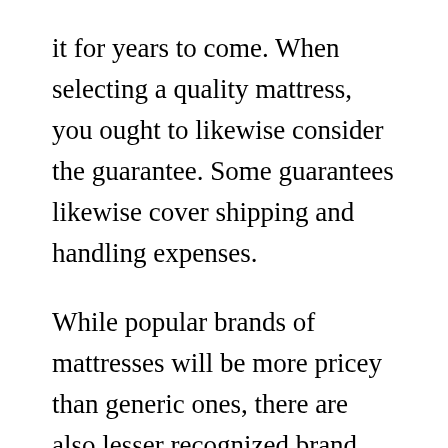it for years to come. When selecting a quality mattress, you ought to likewise consider the guarantee. Some guarantees likewise cover shipping and handling expenses.
While popular brands of mattresses will be more pricey than generic ones, there are also lesser recognized brand names that are worth your cash. Searching for a mattress online is your best option for the best rate because you'll avoid the middleman. The producers will provide the mattress straight to your doorstep. Likewise, there are certain